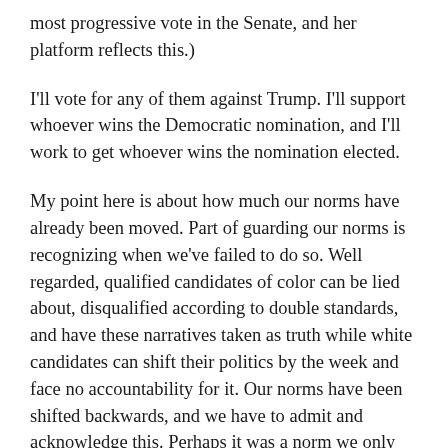most progressive vote in the Senate, and her platform reflects this.)
I'll vote for any of them against Trump. I'll support whoever wins the Democratic nomination, and I'll work to get whoever wins the nomination elected.
My point here is about how much our norms have already been moved. Part of guarding our norms is recognizing when we've failed to do so. Well regarded, qualified candidates of color can be lied about, disqualified according to double standards, and have these narratives taken as truth while white candidates can shift their politics by the week and face no accountability for it. Our norms have been shifted backwards, and we have to admit and acknowledge this. Perhaps it was a norm we only briefly escaped, given that it's been the norm on which this country has operated for centuries. But it is a norm impacted by Trump, it is a norm some of our own white candidates feel too comfortable